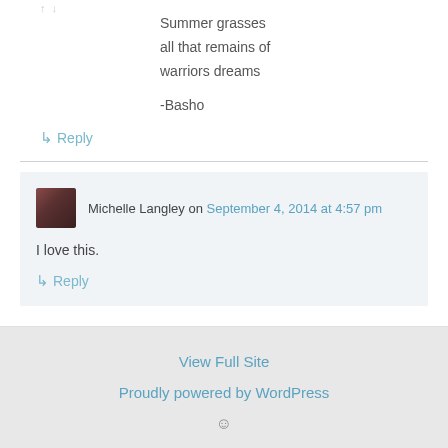Summer grasses
all that remains of
warriors dreams

-Basho
↳ Reply
Michelle Langley on September 4, 2014 at 4:57 pm
I love this.
↳ Reply
View Full Site
Proudly powered by WordPress